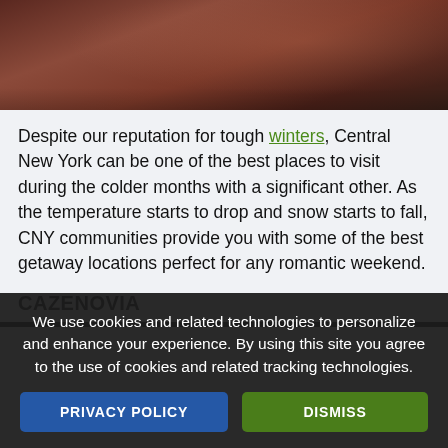[Figure (photo): Dimly lit restaurant/dining scene with warm reddish-brown tones, people at tables]
Despite our reputation for tough winters, Central New York can be one of the best places to visit during the colder months with a significant other. As the temperature starts to drop and snow starts to fall, CNY communities provide you with some of the best getaway locations perfect for any romantic weekend.
CAZENOVIA
We use cookies and related technologies to personalize and enhance your experience. By using this site you agree to the use of cookies and related tracking technologies.